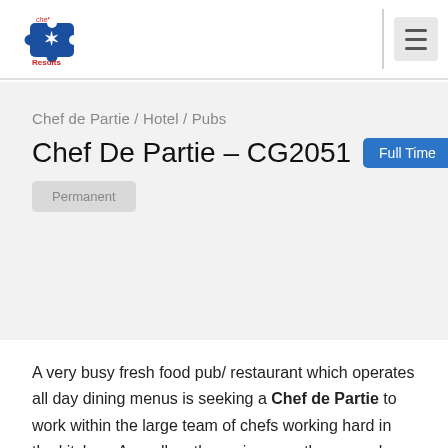[Figure (logo): Chef Results logo with blue puzzle piece icon and red 'Results' text]
Chef de Partie / Hotel / Pubs
Chef De Partie – CG2051  Full Time
Permanent
A very busy fresh food pub/ restaurant which operates all day dining menus is seeking a Chef de Partie to work within the large team of chefs working hard in the kitchen. As well as the main menu the venue has an